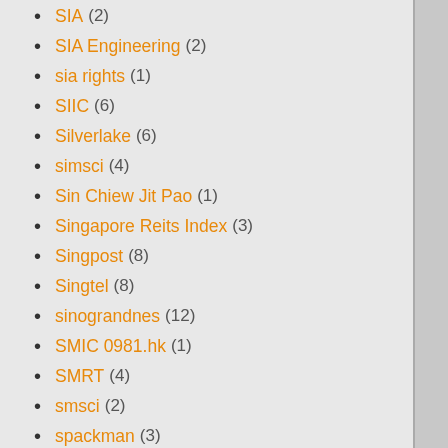SIA (2)
SIA Engineering (2)
sia rights (1)
SIIC (6)
Silverlake (6)
simsci (4)
Sin Chiew Jit Pao (1)
Singapore Reits Index (3)
Singpost (8)
Singtel (8)
sinograndnes (12)
SMIC 0981.hk (1)
SMRT (4)
smsci (2)
spackman (3)
Spanish Bond Yield (1)
SPH (1)
ST Engineering (2)
starhub (4)
State Chinese (10)